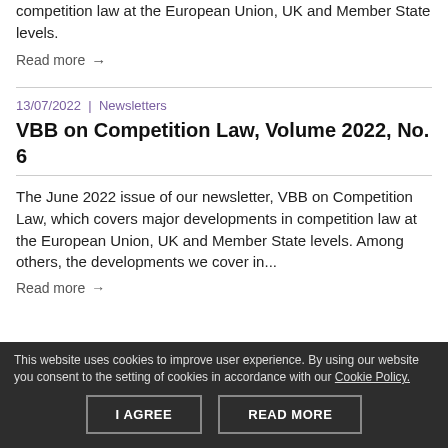competition law at the European Union, UK and Member State levels.
Read more →
13/07/2022  |  Newsletters
VBB on Competition Law, Volume 2022, No. 6
The June 2022 issue of our newsletter, VBB on Competition Law, which covers major developments in competition law at the European Union, UK and Member State levels. Among others, the developments we cover in...
Read more →
This website uses cookies to improve user experience. By using our website you consent to the setting of cookies in accordance with our Cookie Policy.